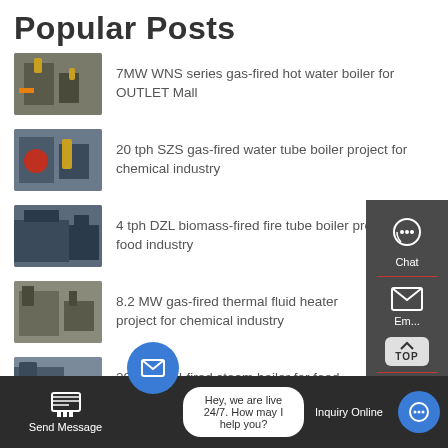Popular Posts
7MW WNS series gas-fired hot water boiler for OUTLET Mall
20 tph SZS gas-fired water tube boiler project for chemical industry
4 tph DZL biomass-fired fire tube boiler project for food industry
8.2 MW gas-fired thermal fluid heater project for chemical industry
20 tph coal-fired steam boiler for food industry
7.2MW coal-fired thermal fluid heater project in
[Figure (screenshot): Side panel with Chat, Email, TOP, and Contact buttons on dark background]
[Figure (screenshot): Bottom chat bar with Send Message, live chat bubble 'Hey, we are live 24/7. How may I help you?', and Inquiry Online button]